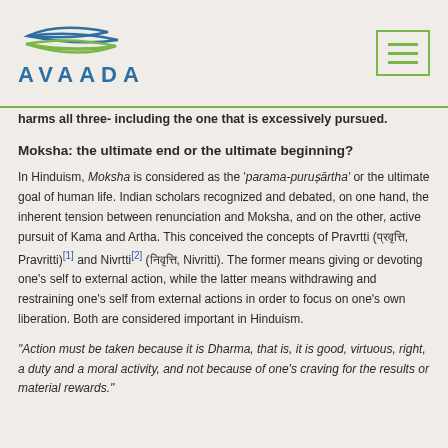AVAADA
harms all three- including the one that is excessively pursued.
Moksha: the ultimate end or the ultimate beginning?
In Hinduism, Moksha is considered as the 'parama-puruṣārtha' or the ultimate goal of human life. Indian scholars recognized and debated, on one hand, the inherent tension between renunciation and Moksha, and on the other, active pursuit of Kama and Artha. This conceived the concepts of Pravrtti (प्रवृत्ति, Pravritti)[1] and Nivrtti[2] (निवृत्ति, Nivritti). The former means giving or devoting one's self to external action, while the latter means withdrawing and restraining one's self from external actions in order to focus on one's own liberation. Both are considered important in Hinduism.
"Action must be taken because it is Dharma, that is, it is good, virtuous, right, a duty and a moral activity, and not because of one's craving for the results or material rewards."